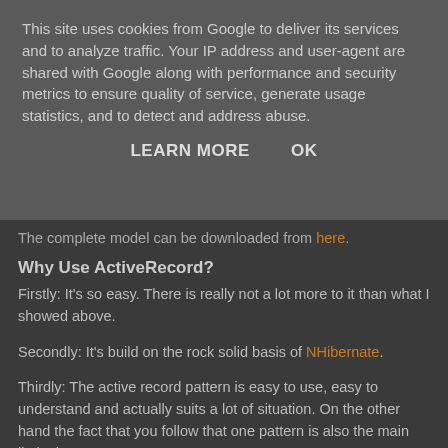This site uses cookies from Google to deliver its services and to analyze traffic. Your IP address and user-agent are shared with Google along with performance and security metrics to ensure quality of service, generate usage statistics, and to detect and address abuse.
LEARN MORE    OK
The complete model can be downloaded from here.
Why Use ActiveRecord?
Firstly: It's so easy. There is really not a lot more to it than what I showed above.
Secondly: It's build on the rock solid basis of NHibernate.
Thirdly: The active record pattern is easy to use, easy to understand and actually suits a lot of situation. On the other hand the fact that you follow that one pattern is also the main limitation.
Fourthly: Entities are still almost POCOs. They've just had a few attributes added. This means they are still easily testable, and that I still b...